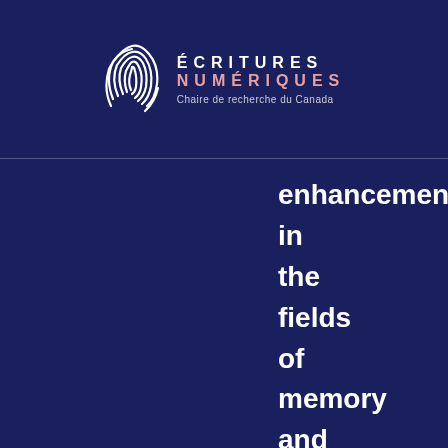ÉCRITURES NUMÉRIQUES — Chaire de recherche du Canada
enhancement in the fields of memory and heritage, and the HN Lab, which is